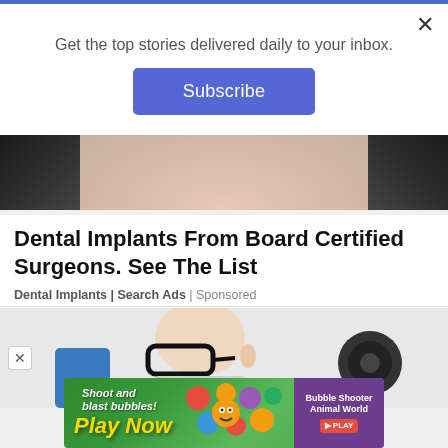Get the top stories delivered daily to your inbox.
Subscribe
[Figure (photo): Close-up of a woman's chin and lower face with dark hair framing the sides]
Dental Implants From Board Certified Surgeons. See The List
Dental Implants | Search Ads | Sponsored
[Figure (photo): Elderly man with glasses looking at a dark circular device, seated in a blue chair]
[Figure (photo): Mobile game advertisement showing colorful bubble shooter game with 'Shoot and blast bubbles! Play Now' text and Bubble Shooter Animal World branding]